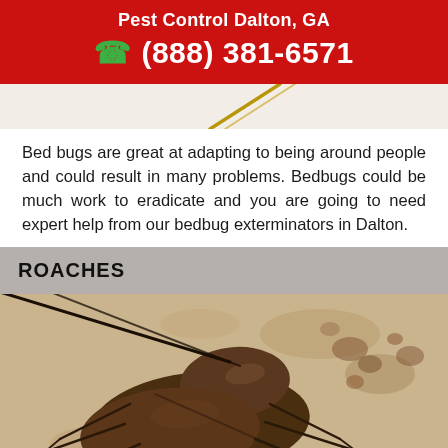Pest Control Dalton, GA
(888) 381-6571
[Figure (photo): Partial view of a bed bug or insect leg against a light background, cropped at top of content area]
Bed bugs are great at adapting to being around people and could result in many problems. Bedbugs could be much work to eradicate and you are going to need expert help from our bedbug exterminators in Dalton.
ROACHES
[Figure (photo): Close-up photo of a cockroach (American cockroach) on a surface with debris. The roach is brown with long antennae visible in the foreground.]